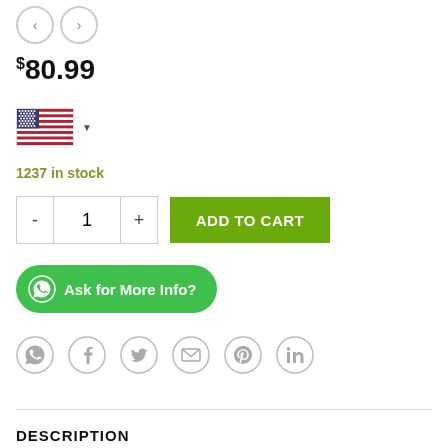[Figure (other): Navigation arrows (previous/next) as two circular outlined buttons]
$80.99
[Figure (other): US flag dropdown selector with triangle dropdown arrow]
1237 in stock
[Figure (other): Quantity selector with minus and plus buttons showing value 1, and green ADD TO CART button]
[Figure (other): Green WhatsApp button labeled Ask for More Info?]
[Figure (other): Row of 6 social share icons: WhatsApp, Facebook, Twitter, Email, Pinterest, LinkedIn]
DESCRIPTION